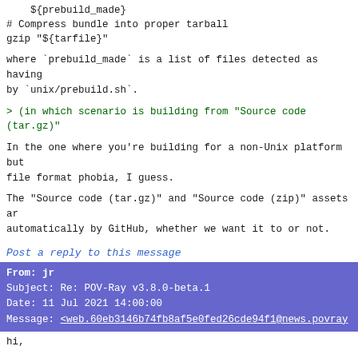${prebuild_made}
# Compress bundle into proper tarball
gzip "${tarfile}"
where `prebuild_made` is a list of files detected as having been built by `unix/prebuild.sh`.
> (in which scenario is building from "Source code (tar.gz)"
In the one where you're building for a non-Unix platform but file format phobia, I guess.
The "Source code (tar.gz)" and "Source code (zip)" assets are automatically by GitHub, whether we want it to or not.
Post a reply to this message
From: jr
Subject: Re: POV-Ray v3.8.0-beta.1
Date: 11 Jul 2021 14:00:00
Message: <web.60eb3146b74fb8af5e0fed26cde94f1@news.povray
hi,

clipcka <ano### [at] anonymous.org> wrote:
> Am 11.07.2021 um 18:53 schrieb jr:
>
> > downloaded the 'povunix' as recommended, was surprised t
> > the cwd rather than in a sub-directory.
>